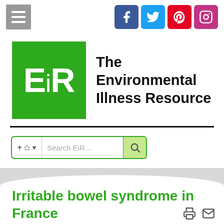[Figure (logo): Hamburger menu icon (grey square with three white horizontal lines) and social media icons for Facebook, Twitter, Pinterest, and Instagram]
[Figure (logo): EiR logo: green square with white bold text 'EiR' alongside 'The Environmental Illness Resource' in large bold black text]
[Figure (screenshot): Search bar with green border, dropdown arrow, placeholder text 'Search EiR...' and green search button with magnifying glass icon]
Irritable bowel syndrome in France